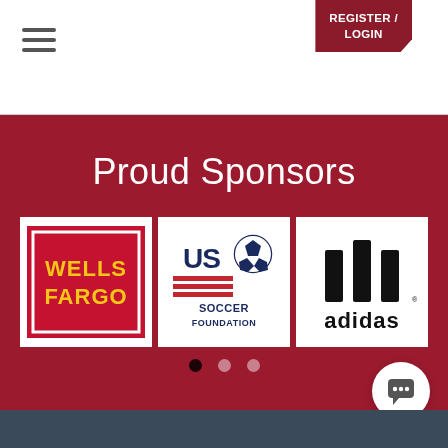REGISTER / LOGIN
Proud Sponsors
[Figure (logo): Wells Fargo logo — yellow text on red background]
[Figure (logo): US Soccer Foundation logo — navy and red on white]
[Figure (logo): Adidas logo — three stripes wordmark in black]